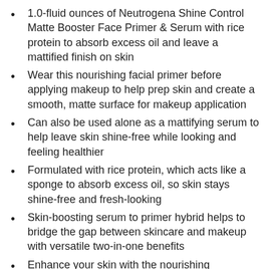1.0-fluid ounces of Neutrogena Shine Control Matte Booster Face Primer & Serum with rice protein to absorb excess oil and leave a mattified finish on skin
Wear this nourishing facial primer before applying makeup to help prep skin and create a smooth, matte surface for makeup application
Can also be used alone as a mattifying serum to help leave skin shine-free while looking and feeling healthier
Formulated with rice protein, which acts like a sponge to absorb excess oil, so skin stays shine-free and fresh-looking
Skin-boosting serum to primer hybrid helps to bridge the gap between skincare and makeup with versatile two-in-one benefits
Enhance your skin with the nourishing